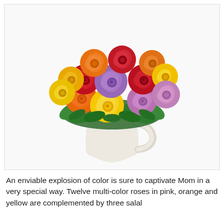[Figure (photo): A colorful bouquet of multi-color roses in red, orange, yellow, purple/lavender, and pink arranged in a white ceramic pitcher/jug vase against a white background.]
An enviable explosion of color is sure to captivate Mom in a very special way. Twelve multi-color roses in pink, orange and yellow are complemented by three salal